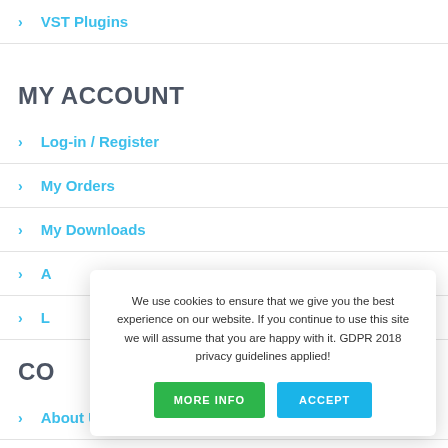> VST Plugins
MY ACCOUNT
> Log-in / Register
> My Orders
> My Downloads
> A[partially hidden]
> L[partially hidden]
CO[partially hidden]
> About Us
We use cookies to ensure that we give you the best experience on our website. If you continue to use this site we will assume that you are happy with it. GDPR 2018 privacy guidelines applied!
MORE INFO | ACCEPT